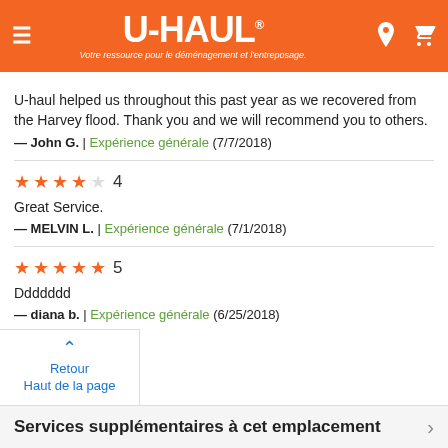[Figure (screenshot): U-Haul website header with orange background, hamburger menu icon, U-Haul logo with tagline 'Votre ressource pour le déménagement et l'entreposage.', location pin icon and shopping cart icon]
U-haul helped us throughout this past year as we recovered from the Harvey flood. Thank you and we will recommend you to others.
— John G.  |  Expérience générale  (7/7/2018)
★★★★☆ 4
Great Service.
— MELVIN L.  |  Expérience générale  (7/1/2018)
★★★★★ 5
Ddddddd
— diana b.  |  Expérience générale  (6/25/2018)
Retour
Haut de la page
Services supplémentaires à cet emplacement